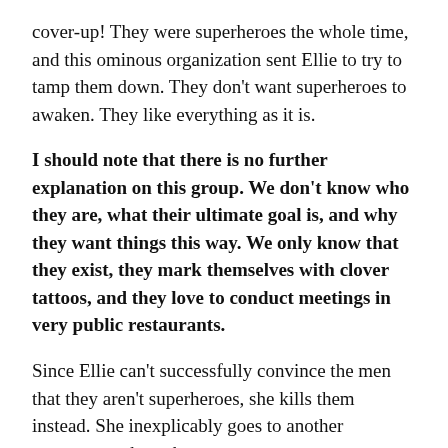cover-up! They were superheroes the whole time, and this ominous organization sent Ellie to try to tamp them down. They don't want superheroes to awaken. They like everything as it is.
I should note that there is no further explanation on this group. We don't know who they are, what their ultimate goal is, and why they want things this way. We only know that they exist, they mark themselves with clover tattoos, and they love to conduct meetings in very public restaurants.
Since Ellie can't successfully convince the men that they aren't superheroes, she kills them instead. She inexplicably goes to another restaurant, where the same